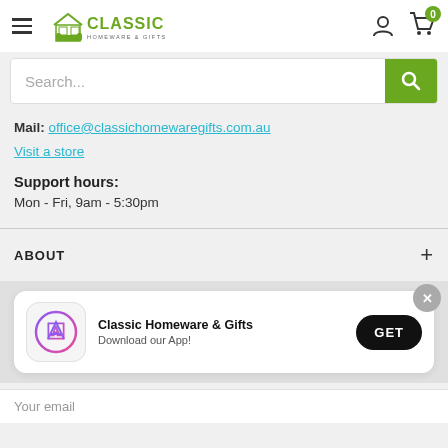[Figure (logo): Classic Homeware & Gifts logo with house/sofa icon and green text]
Search...
Mail: office@classichomewaregifts.com.au
Visit a store
Support hours:
Mon - Fri, 9am - 5:30pm
ABOUT
[Figure (screenshot): App download banner: Classic Homeware & Gifts app icon with iOS App Store logo, text 'Classic Homeware & Gifts Download our App!', and GET button]
Your email